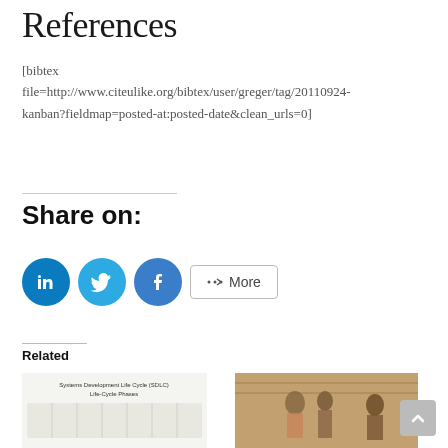References
[bibtex file=http://www.citeulike.org/bibtex/user/greger/tag/20110924-kanban?fieldmap=posted-at:posted-date&clean_urls=0]
Share on:
[Figure (illustration): Social share buttons: LinkedIn (blue circle with 'in' icon), Twitter (blue circle with bird icon), Facebook (blue circle with 'f' icon), and a 'More' button with share icon]
Related
[Figure (infographic): Thumbnail of Systems Development Life Cycle (SDLC) Life-Cycle Phases diagram]
[Figure (photo): Thumbnail of a historical painting showing elegantly dressed figures in what appears to be a 18th century interior scene]